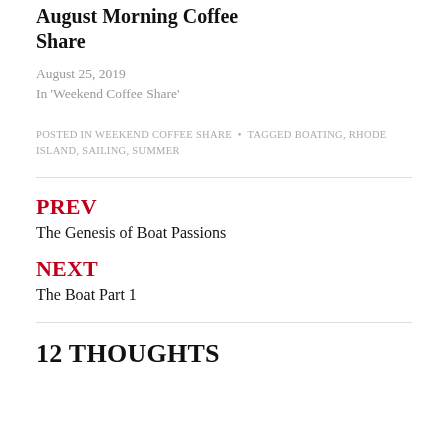August Morning Coffee Share
August 25, 2019
In 'Weekend Coffee Share'
POSTED IN WEEKEND COFFEE SHARE  •  TAGGED BOATING, RHODE ISLAND, SAILING, SUMMER
PREV
The Genesis of Boat Passions
NEXT
The Boat Part 1
12 THOUGHTS